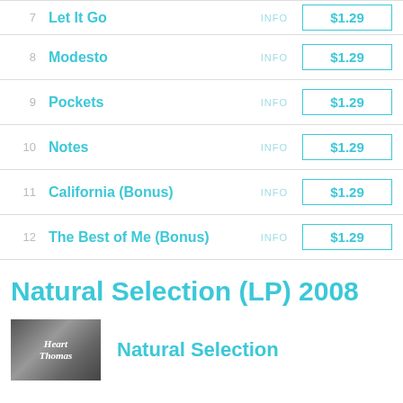7 Let It Go INFO $1.29
8 Modesto INFO $1.29
9 Pockets INFO $1.29
10 Notes INFO $1.29
11 California (Bonus) INFO $1.29
12 The Best of Me (Bonus) INFO $1.29
Natural Selection (LP) 2008
Natural Selection